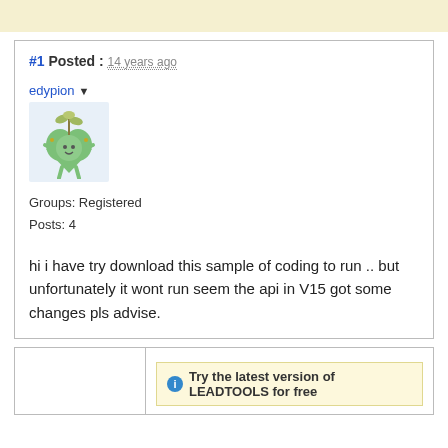#1 Posted : 14 years ago
[Figure (illustration): User avatar for edypion: a green cartoon heart-shaped character with plant/sprout on head and small arms and legs]
Groups: Registered
Posts: 4
hi i have try download this sample of coding to run .. but unfortunately it wont run seem the api in V15 got some changes pls advise.
Try the latest version of LEADTOOLS for free